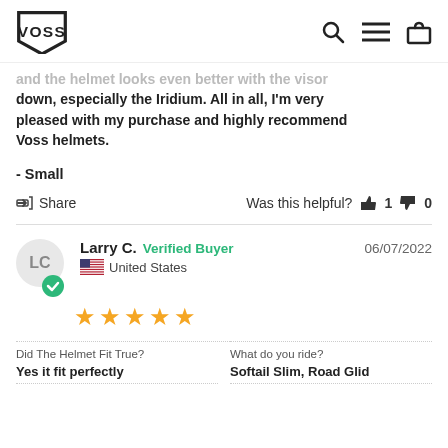VOSS [logo]
and the helmet looks even better with the visor down, especially the Iridium. All in all, I'm very pleased with my purchase and highly recommend Voss helmets.
- Small
Share   Was this helpful? 👍 1 👎 0
Larry C. Verified Buyer   06/07/2022   United States   ★★★★★
Did The Helmet Fit True?
Yes it fit perfectly
What do you ride?
Softail Slim, Road Glid